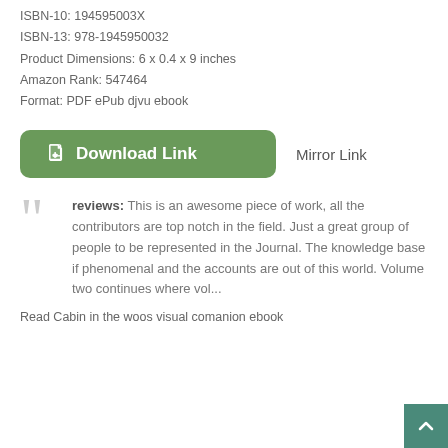ISBN-10: 194595003X
ISBN-13: 978-1945950032
Product Dimensions: 6 x 0.4 x 9 inches
Amazon Rank: 547464
Format: PDF ePub djvu ebook
[Figure (other): Green rounded rectangle Download Link button with document icon, and Mirror Link text to the right]
reviews: This is an awesome piece of work, all the contributors are top notch in the field. Just a great group of people to be represented in the Journal. The knowledge base if phenomenal and the accounts are out of this world. Volume two continues where vol...
Read Cabin in the woos visual comanion ebook